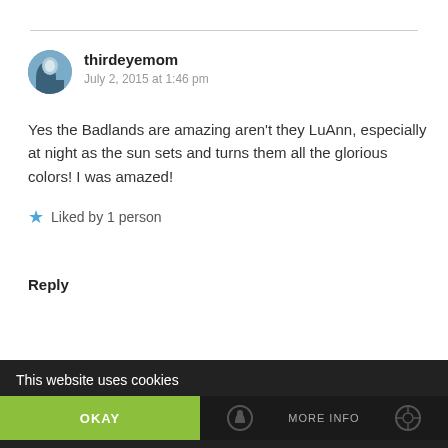thirdeyemom
July 2, 2015 at 1:46 pm
Yes the Badlands are amazing aren't they LuAnn, especially at night as the sun sets and turns them all the glorious colors! I was amazed!
★ Liked by 1 person
Reply
This website uses cookies
OKAY
MORE INFO